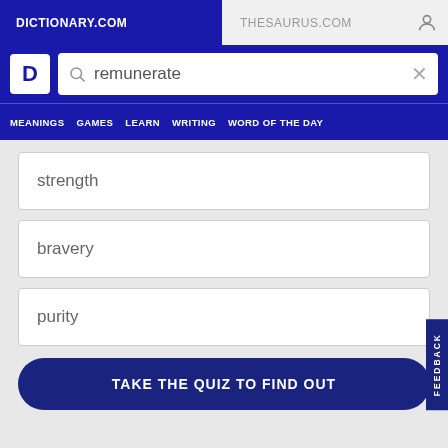DICTIONARY.COM   THESAURUS.COM
[Figure (screenshot): Dictionary.com logo D in white on blue background, next to search box with 'remunerate' typed in]
MEANINGS   GAMES   LEARN   WRITING   WORD OF THE DAY
strength
bravery
purity
TAKE THE QUIZ TO FIND OUT